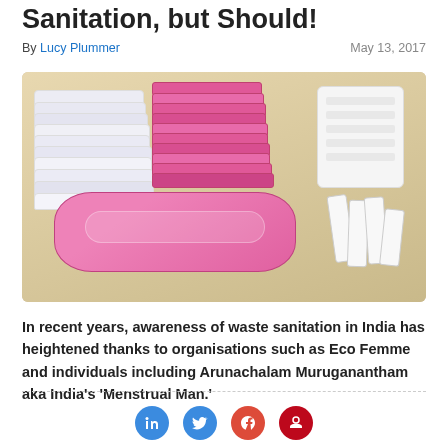Sanitation, but Should!
By Lucy Plummer    May 13, 2017
[Figure (photo): Photo of menstrual hygiene products: stacked white sanitary pads on the left, stacked pink sanitary pads in the center, white folded towel on the right, a large pink sanitary pad in the foreground, and white tampons on the right, all arranged on a beige textured mat.]
In recent years, awareness of waste sanitation in India has heightened thanks to organisations such as Eco Femme and individuals including Arunachalam Muruganantham aka India's 'Menstrual Man.'